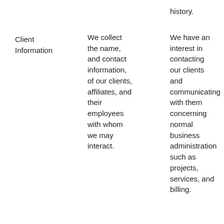history.
Client Information
We collect the name, and contact information, of our clients, affiliates, and their employees with whom we may interact.
We have an interest in contacting our clients and communicating with them concerning normal business administration such as projects, services, and billing.